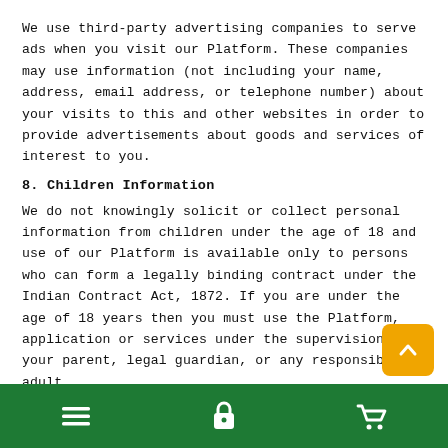We use third-party advertising companies to serve ads when you visit our Platform. These companies may use information (not including your name, address, email address, or telephone number) about your visits to this and other websites in order to provide advertisements about goods and services of interest to you.
8. Children Information
We do not knowingly solicit or collect personal information from children under the age of 18 and use of our Platform is available only to persons who can form a legally binding contract under the Indian Contract Act, 1872. If you are under the age of 18 years then you must use the Platform, application or services under the supervision of your parent, legal guardian, or any responsible adult.
9. Data Retention
We retain your personal information in accordance with appliable laws, for a period no longer than is required for the purpose for which it was collected or as required under any applicable law.